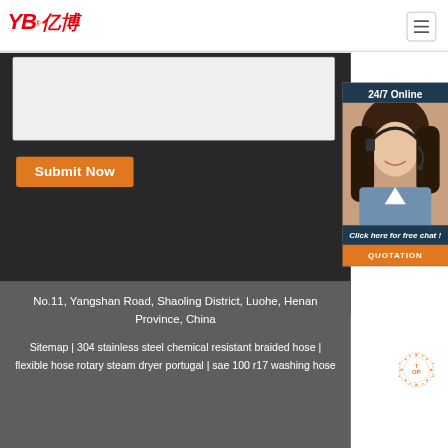[Figure (logo): YB亿博 company logo in red with registered trademark symbol]
[Figure (other): Hamburger menu icon (three horizontal lines) in a rounded rectangle border]
[Figure (other): Gray form input area on dark background]
Submit Now
[Figure (other): 24/7 Online chat widget with photo of woman with headset. Text: 24/7 Online, Click here for free chat!, QUOTATION button]
No.11, Yangshan Road, Shaoling District, Luohe, Henan Province, China
Sitemap | 304 stainless steel chemical resistant braided hose | flexible hose rotary steam dryer portugal | sae 100 r17 washing hose
[Figure (other): TOP scroll-to-top button with orange dotted circle design]